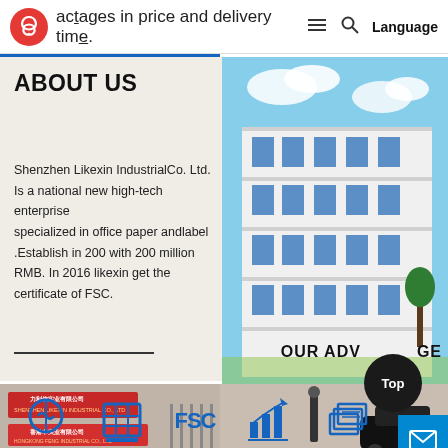advantages in price and delivery time.  Language
ABOUT US
Shenzhen Likexin IndustrialCo. Ltd. Is a national new high-tech enterprise specialized in office paper andlabel .Establish in 200 with 200 million RMB. In 2016 likexin get the certificate of FSC.
[Figure (photo): Multi-story white industrial building against blue sky]
[Figure (photo): Company entrance gate with Chinese signage: 力利信实业有限公司 and 香港丰实业有限公司, person and dark car visible]
OUR ADVANTAGE
[Figure (infographic): Row of blue icons representing company advantages including paper/document, grid/table, FSC certification text, bar chart growth, and stack/book icons]